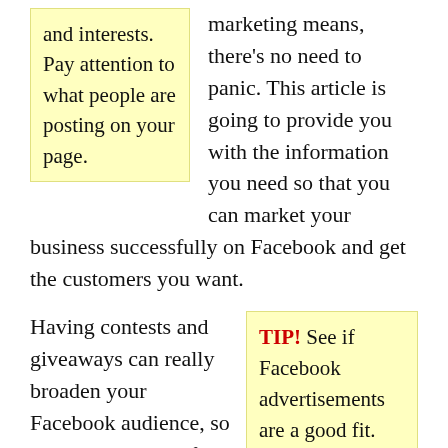and interests. Pay attention to what people are posting on your page.
marketing means, there's no need to panic. This article is going to provide you with the information you need so that you can market your business successfully on Facebook and get the customers you want.
Having contests and giveaways can really broaden your Facebook audience, so make sure to take full advantage. Encourage people to “like” your Facebook page, and offer discounts or prizes in exchange. Always follow through with any contest. If you say you are giving away a prize, make sure you do so.
TIP! See if Facebook advertisements are a good fit. This will help to promote your products in a very effective manner.
TIP! When using Facebook to market your product or service, you have to be
Be sure that all of your online content is linked to and from Facebook. If you publish a blog,